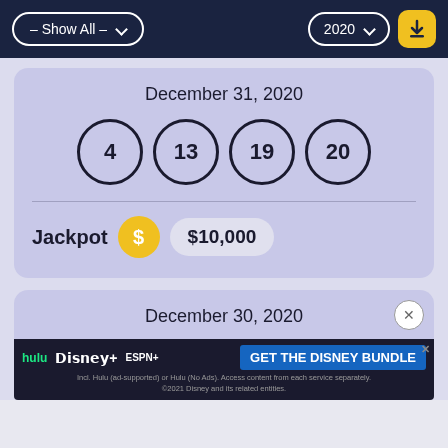– Show All –   2020
December 31, 2020
4  13  19  20
Jackpot  $10,000
December 30, 2020
[Figure (screenshot): Disney Bundle advertisement banner showing Hulu, Disney+, ESPN+ logos with 'GET THE DISNEY BUNDLE' call to action]
Incl. Hulu (ad-supported) or Hulu (No Ads). Access content from each service separately. ©2021 Disney and its related entities.